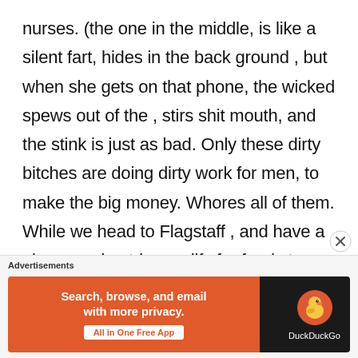nurses. (the one in the middle, is like a silent fart, hides in the back ground , but when she gets on that phone, the wicked spews out of the , stirs shit mouth, and the stink is just as bad. Only these dirty bitches are doing dirty work for men, to make the big money. Whores all of them. While we head to Flagstaff , and have a nice camping trip, qualify for food stamps now the sirloin steaks are good and free the beer or wine we have to
Advertisements
[Figure (other): DuckDuckGo advertisement banner with orange left section reading 'Search, browse, and email with more privacy. All in One Free App' and dark right section with DuckDuckGo logo and name.]